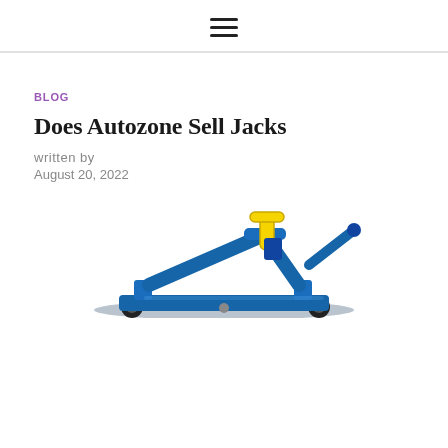≡
BLOG
Does Autozone Sell Jacks
written by
August 20, 2022
[Figure (photo): A blue hydraulic floor jack with a yellow handle, photographed from the side, partially cropped at the bottom of the page.]